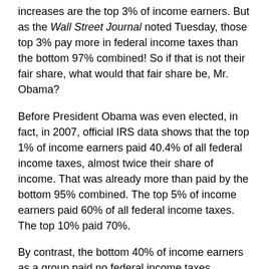increases are the top 3% of income earners. But as the Wall Street Journal noted Tuesday, those top 3% pay more in federal income taxes than the bottom 97% combined! So if that is not their fair share, what would that fair share be, Mr. Obama?
Before President Obama was even elected, in fact, in 2007, official IRS data shows that the top 1% of income earners paid 40.4% of all federal income taxes, almost twice their share of income. That was already more than paid by the bottom 95% combined. The top 5% of income earners paid 60% of all federal income taxes. The top 10% paid 70%.
By contrast, the bottom 40% of income earners as a group paid no federal income taxes. Instead, they received net payments from the income tax system equal to 3.8% of all federal income taxes. In other words, they paid negative 3.8% of federal income taxes. The middle 20% of income earners, the actual